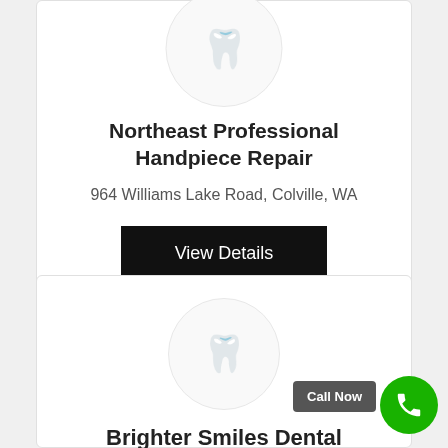[Figure (logo): Dental tooth icon inside a light circular badge, partially cropped at top]
Northeast Professional Handpiece Repair
964 Williams Lake Road, Colville, WA
View Details
[Figure (logo): Dental tooth icon inside a circular badge]
Brighter Smiles Dental
Call Now